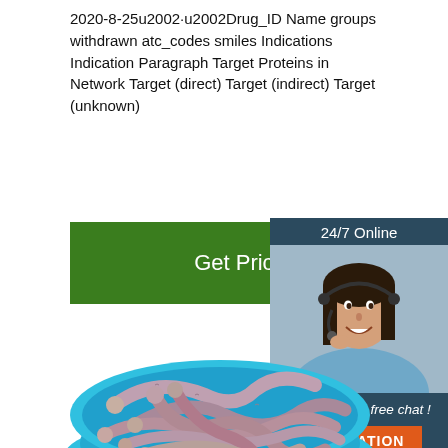2020-8-25u2002·u2002Drug_ID Name groups withdrawn atc_codes smiles Indications Indication Paragraph Target Proteins in Network Target (direct) Target (indirect) Target (unknown)
[Figure (other): Green 'Get Price' button]
[Figure (photo): 24/7 Online support agent photo with chat box and QUOTATION button]
[Figure (photo): Bowl of worm-like creatures (caecilians or similar) in a blue bowl, with TOP logo overlay]